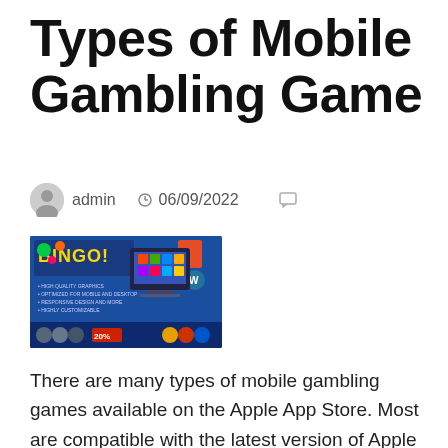Types of Mobile Gambling Game
admin   06/09/2022
[Figure (screenshot): Bingo mobile gambling game promotional screenshot with blue background showing HTML5 and WordPress logos, game interface on tablet and desktop]
There are many types of mobile gambling games available on the Apple App Store. Most are compatible with the latest version of Apple devices. Most require you to sign up or create an account before you can download them. Once you have an account, you can read reviews and